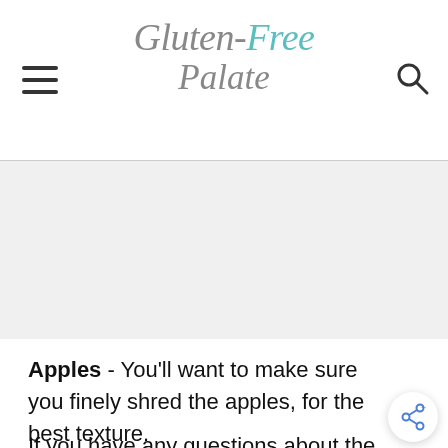Gluten-Free Palate
[Figure (other): Advertisement / empty gray banner area]
Apples - You'll want to make sure you finely shred the apples, for the best texture.
If you have any questions about the